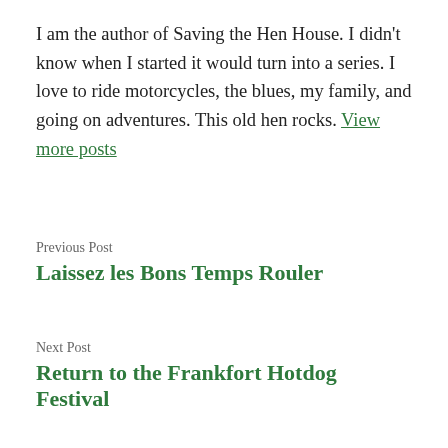I am the author of Saving the Hen House. I didn't know when I started it would turn into a series. I love to ride motorcycles, the blues, my family, and going on adventures. This old hen rocks. View more posts
Previous Post
Laissez les Bons Temps Rouler
Next Post
Return to the Frankfort Hotdog Festival